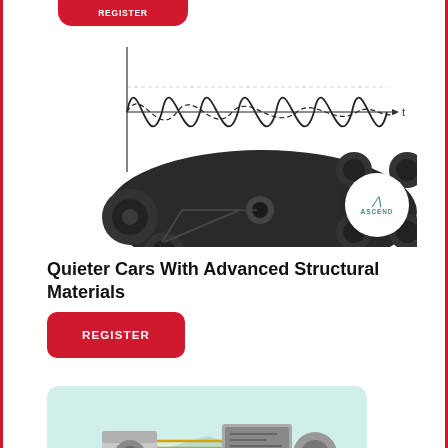[Figure (illustration): Red REGISTER button at the top, partially cropped, with rounded corners on a white background with red side borders]
[Figure (engineering-diagram): CAD rendering of a dark structural mechanical part with lattice features and bolt holes, overlaid with a vibration/wave graph showing oscillating sine waves and a damped wave, with Ascend logo circle in bottom right]
Quieter Cars With Advanced Structural Materials
[Figure (other): Red REGISTER button with rounded corners]
[Figure (illustration): Isometric illustration of electronic/audio equipment on a teal background, partially visible at bottom of page]